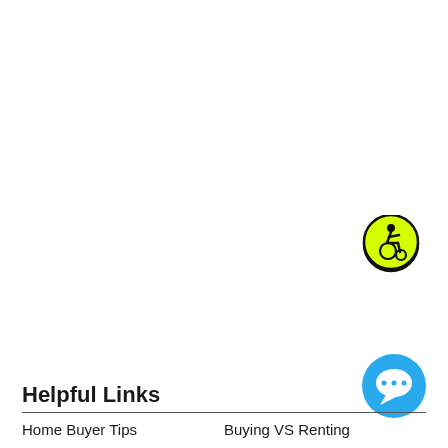[Figure (logo): Yellow circular accessibility icon with black border, showing a person in a wheelchair in dynamic/active pose]
[Figure (logo): Blue circular chat/messaging bubble icon]
Helpful Links
Home Buyer Tips
Buying VS Renting